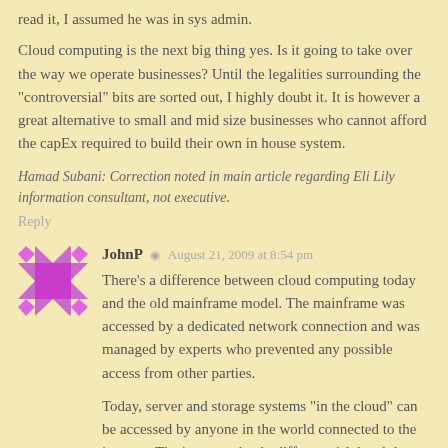read it, I assumed he was in sys admin.
Cloud computing is the next big thing yes. Is it going to take over the way we operate businesses? Until the legalities surrounding the "controversial" bits are sorted out, I highly doubt it. It is however a great alternative to small and mid size businesses who cannot afford the capEx required to build their own in house system.
Hamad Subani: Correction noted in main article regarding Eli Lily information consultant, not executive.
Reply
[Figure (illustration): Avatar icon for user JohnP - purple/pink diamond pattern with central magenta square]
JohnP  August 21, 2009 at 8:54 pm
There's a difference between cloud computing today and the old mainframe model. The mainframe was accessed by a dedicated network connection and was managed by experts who prevented any possible access from other parties.
Today, server and storage systems "in the cloud" can be accessed by anyone in the world connected to the internet. That's a completely different risk level than before.